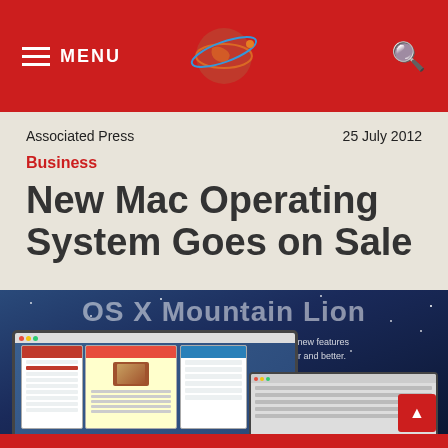MENU [logo] [search]
Associated Press    25 July 2012
Business
New Mac Operating System Goes on Sale
[Figure (screenshot): OS X Mountain Lion promotional screenshot showing two Mac laptops with application windows open, including a recipe app and a sidebar navigation, set against a starry blue background. Text reads 'OS X Mountain Lion' and 'OS X Mountain Lion arrives this summer. With all-new features inspired by iPad, the Mac just keeps getting better and better.']